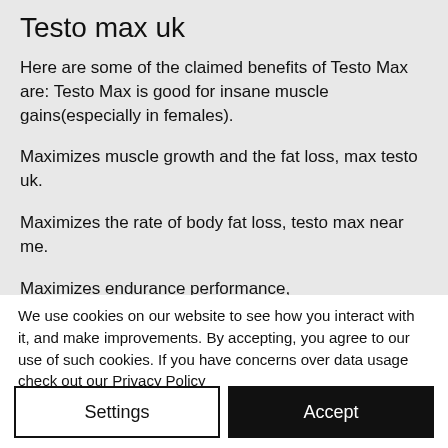Testo max uk
Here are some of the claimed benefits of Testo Max are: Testo Max is good for insane muscle gains(especially in females).
Maximizes muscle growth and the fat loss, max testo uk.
Maximizes the rate of body fat loss, testo max near me.
Maximizes endurance performance,
We use cookies on our website to see how you interact with it, and make improvements. By accepting, you agree to our use of such cookies. If you have concerns over data usage check out our Privacy Policy
Settings
Accept